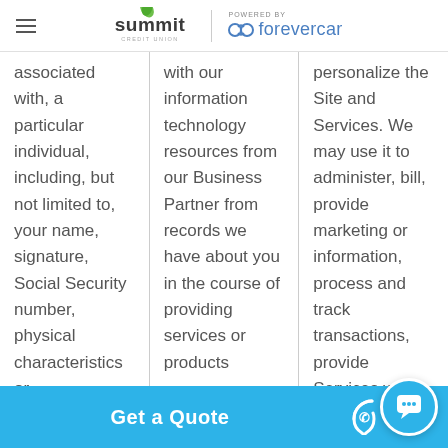summit | POWERED BY forevercar
| associated with, a particular individual, including, but not limited to, your name, signature, Social Security number, physical characteristics or | with our information technology resources from our Business Partner from records we have about you in the course of providing services or products | personalize the Site and Services. We may use it to administer, bill, provide marketing or information, process and track transactions, provide Services with companie |
Get a Quote